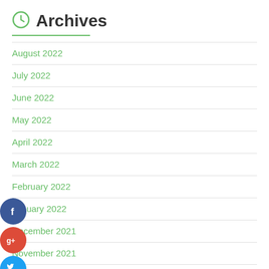Archives
August 2022
July 2022
June 2022
May 2022
April 2022
March 2022
February 2022
January 2022
December 2021
November 2021
October 2021
September 2021
[Figure (illustration): Social media share buttons: Facebook (dark blue circle with f), Google+ (red circle with g+), Twitter (light blue circle with bird icon), More/Add (dark navy circle with + sign)]